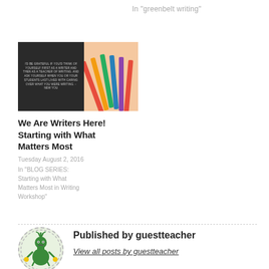In "greenbelt writing"
[Figure (photo): Blog post card with dark background text panel on left showing quote text and colorful pencils on right]
We Are Writers Here! Starting with What Matters Most
Tuesday August 2, 2016
In "BLOG SERIES: Starting with What Matters Most in Writing Workshop"
[Figure (illustration): Green monster/tree creature avatar in circular dashed border on light green background]
Published by guestteacher
View all posts by guestteacher